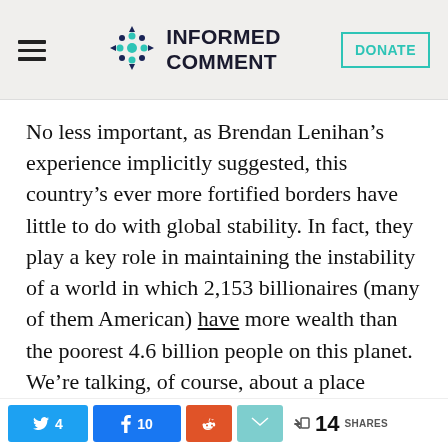INFORMED COMMENT
No less important, as Brendan Lenihan’s experience implicitly suggested, this country’s ever more fortified borders have little to do with global stability. In fact, they play a key role in maintaining the instability of a world in which 2,153 billionaires (many of them American) have more wealth than the poorest 4.6 billion people on this planet. We’re talking, of course, about a place where forecasts of climate displacement suggest
4  10  14 SHARES